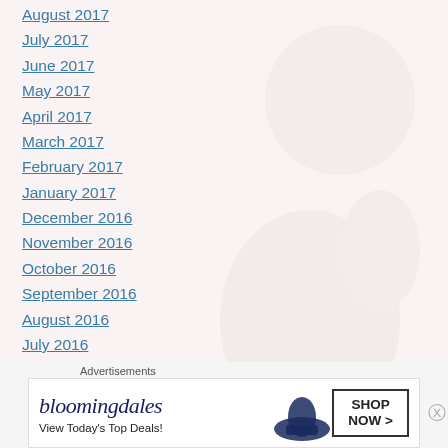August 2017
July 2017
June 2017
May 2017
April 2017
March 2017
February 2017
January 2017
December 2016
November 2016
October 2016
September 2016
August 2016
July 2016
June 2016
[Figure (illustration): Bloomingdales advertisement banner with logo, 'View Today's Top Deals!' tagline, woman with large hat, and 'SHOP NOW >' button]